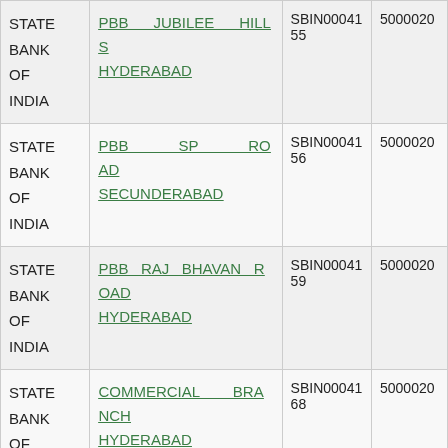| Bank | Branch | IFSC | MICR |
| --- | --- | --- | --- |
| STATE BANK OF INDIA | PBB JUBILEE HILLS HYDERABAD | SBIN0004155 | 5000020 |
| STATE BANK OF INDIA | PBB SP ROAD SECUNDERABAD | SBIN0004156 | 5000020 |
| STATE BANK OF INDIA | PBB RAJ BHAVAN ROAD HYDERABAD | SBIN0004159 | 5000020 |
| STATE BANK OF INDIA | COMMERCIAL BRANCH HYDERABAD | SBIN0004168 | 5000020 |
| STATE BANK OF INDIA | HITECH CITY | SBIN0004197 | 5000020 |